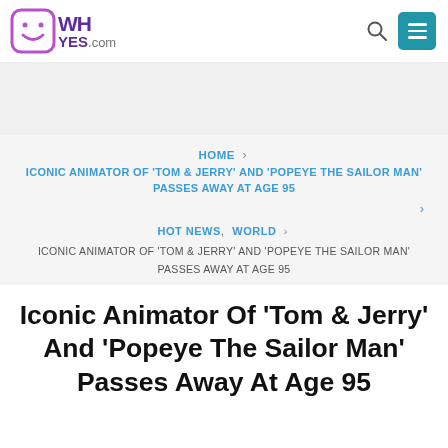[Figure (logo): WHYES.com website logo with purple smiley face icon]
WHYES.com
[Figure (other): Gray advertisement banner area]
HOME > ICONIC ANIMATOR OF 'TOM & JERRY' AND 'POPEYE THE SAILOR MAN' PASSES AWAY AT AGE 95
HOT NEWS, WORLD > ICONIC ANIMATOR OF 'TOM & JERRY' AND 'POPEYE THE SAILOR MAN' PASSES AWAY AT AGE 95
Iconic Animator Of 'Tom & Jerry' And 'Popeye The Sailor Man' Passes Away At Age 95